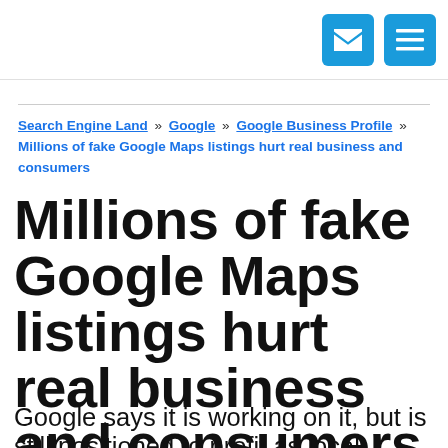[email icon] [menu icon]
Search Engine Land » Google » Google Business Profile » Millions of fake Google Maps listings hurt real business and consumers
Millions of fake Google Maps listings hurt real business and consumers
Google says it is working on it, but is still positioned to profit as local businesses